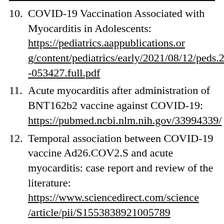10. COVID-19 Vaccination Associated with Myocarditis in Adolescents: https://pediatrics.aappublications.org/content/pediatrics/early/2021/08/12/peds.2021-053427.full.pdf
11. Acute myocarditis after administration of BNT162b2 vaccine against COVID-19: https://pubmed.ncbi.nlm.nih.gov/33994339/
12. Temporal association between COVID-19 vaccine Ad26.COV2.S and acute myocarditis: case report and review of the literature: https://www.sciencedirect.com/science/article/pii/S1553838921005789
13. COVID-19 vaccine-induced myocarditis: a case